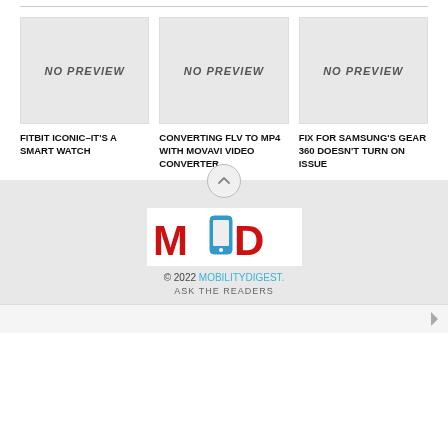[Figure (other): No preview placeholder image for Fitbit Iconic article]
[Figure (other): No preview placeholder image for Converting FLV to MP4 article]
[Figure (other): No preview placeholder image for Samsung Gear 360 article]
FITBIT ICONIC–IT'S A SMART WATCH
CONVERTING FLV TO MP4 WITH MOVAVI VIDEO CONVERTER
FIX FOR SAMSUNG'S GEAR 360 DOESN'T TURN ON ISSUE
[Figure (logo): MobilityDigest MOD logo — M, phone icon, D in red/blue]
© 2022 MOBILITYDIGEST.
ASK THE READERS